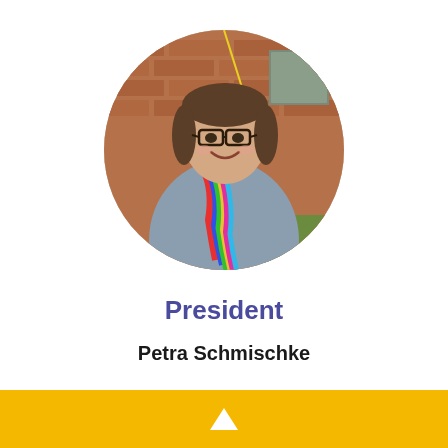[Figure (photo): Circular portrait photo of a smiling woman with short brown hair and glasses, wearing a gray cardigan and colorful striped scarf, standing outdoors in front of a brick building.]
President
Petra Schmischke